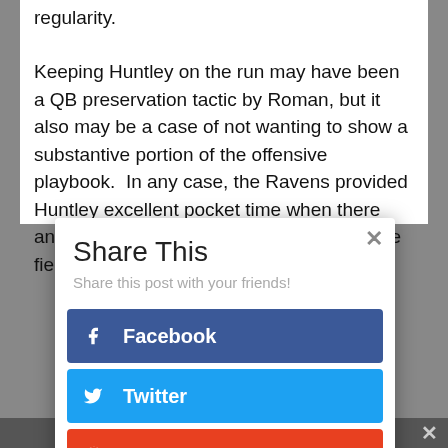regularity.
Keeping Huntley on the run may have been a QB preservation tactic by Roman, but it also may be a case of not wanting to show a substantive portion of the offensive playbook.  In any case, the Ravens provided Huntley excellent pocket time when there and Tyler took relatively few shots down the field.
Share This
Share this post with your friends!
Facebook
Twitter
reddit